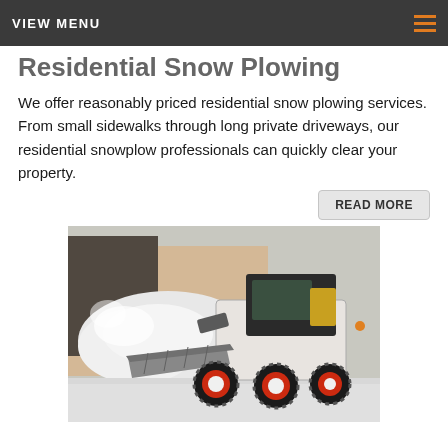VIEW MENU
Residential Snow Plowing
We offer reasonably priced residential snow plowing services. From small sidewalks through long private driveways, our residential snowplow professionals can quickly clear your property.
READ MORE
[Figure (photo): A skid steer loader with a front bucket blade pushing a pile of snow in a snowy outdoor environment. The machine is white and black with red wheel hubs and chained tires.]